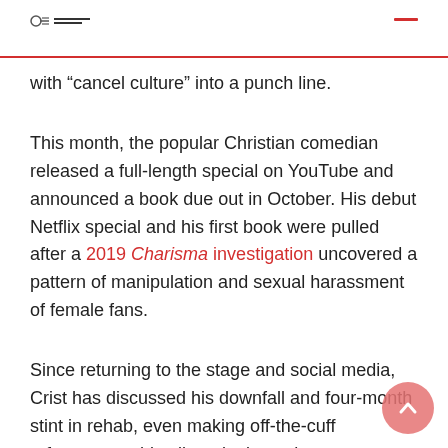Charisma News
with “cancel culture” into a punch line.
This month, the popular Christian comedian released a full-length special on YouTube and announced a book due out in October. His debut Netflix special and his first book were pulled after a 2019 Charisma investigation uncovered a pattern of manipulation and sexual harassment of female fans.
Since returning to the stage and social media, Crist has discussed his downfall and four-month stint in rehab, even making off-the-cuff references to his alleged misconduct.
During a performance in February 2022, for example, a woman shouted at the stage from the audience. Crist responded, “Love you, girl!” before pretending to